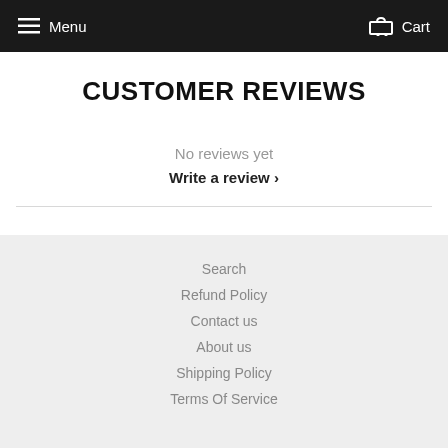Menu   Cart
CUSTOMER REVIEWS
No reviews yet
Write a review ›
Search
Refund Policy
Contact us
About us
Shipping Policy
Terms Of Service